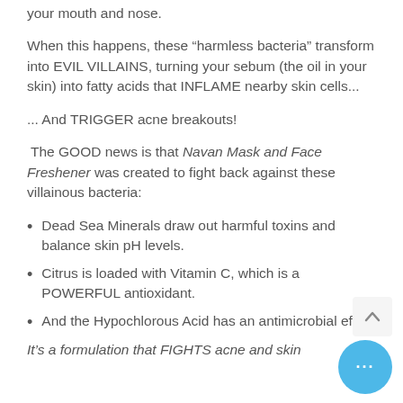your mouth and nose.
When this happens, these “harmless bacteria” transform into EVIL VILLAINS, turning your sebum (the oil in your skin) into fatty acids that INFLAME nearby skin cells...
... And TRIGGER acne breakouts!
The GOOD news is that Navan Mask and Face Freshener was created to fight back against these villainous bacteria:
Dead Sea Minerals draw out harmful toxins and balance skin pH levels.
Citrus is loaded with Vitamin C, which is a POWERFUL antioxidant.
And the Hypochlorous Acid has an antimicrobial effect.
It’s a formulation that FIGHTS acne and skin...